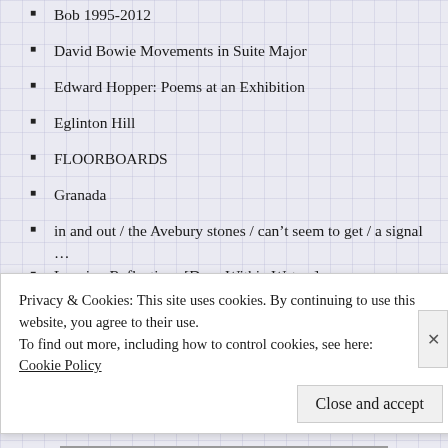Bob 1995-2012
David Bowie Movements in Suite Major
Edward Hopper: Poems at an Exhibition
Eglinton Hill
FLOORBOARDS
Granada
in and out / the Avebury stones / can't seem to get / a signal …
Lapping Reflections [Deep Within Waters]
Miller's Batman
mum
nan
Portsmouth – Southsea
Spring Warwick breezes / over Bacharach fieldwork and
Privacy & Cookies: This site uses cookies. By continuing to use this website, you agree to their use. To find out more, including how to control cookies, see here: Cookie Policy
Close and accept